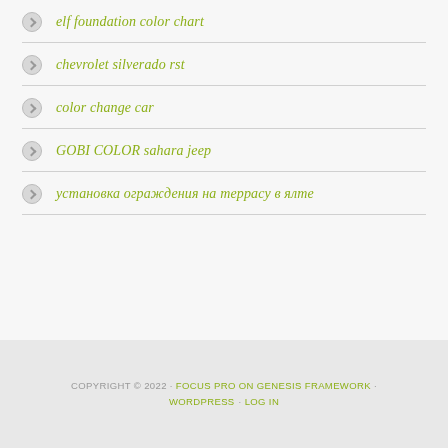elf foundation color chart
chevrolet silverado rst
color change car
GOBI COLOR sahara jeep
установка ограждения на террасу в ялте
COPYRIGHT © 2022 · FOCUS PRO ON GENESIS FRAMEWORK · WORDPRESS · LOG IN